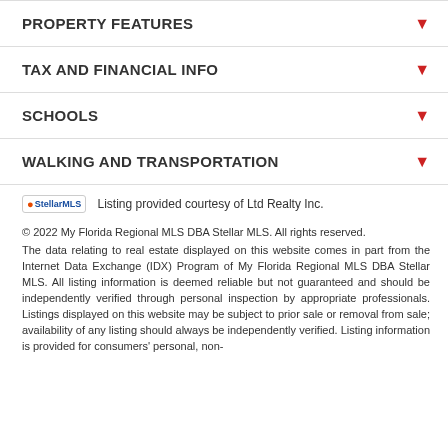PROPERTY FEATURES
TAX AND FINANCIAL INFO
SCHOOLS
WALKING AND TRANSPORTATION
Listing provided courtesy of Ltd Realty Inc.
© 2022 My Florida Regional MLS DBA Stellar MLS. All rights reserved.
The data relating to real estate displayed on this website comes in part from the Internet Data Exchange (IDX) Program of My Florida Regional MLS DBA Stellar MLS. All listing information is deemed reliable but not guaranteed and should be independently verified through personal inspection by appropriate professionals. Listings displayed on this website may be subject to prior sale or removal from sale; availability of any listing should always be independently verified. Listing information is provided for consumers' personal, non-